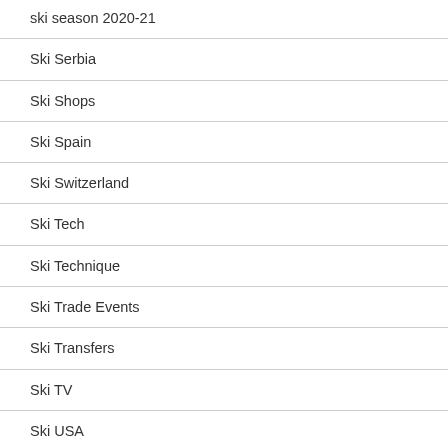ski season 2020-21
Ski Serbia
Ski Shops
Ski Spain
Ski Switzerland
Ski Tech
Ski Technique
Ski Trade Events
Ski Transfers
Ski TV
Ski USA